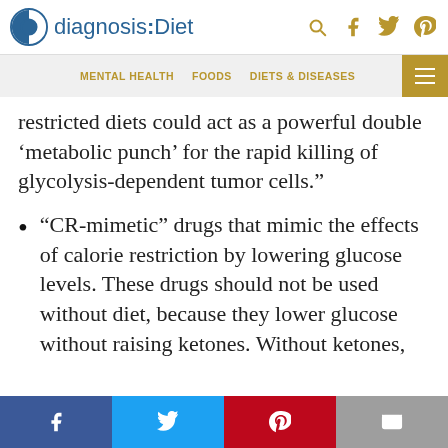diagnosis:Diet — MENTAL HEALTH  FOODS  DIETS & DISEASES
restricted diets could act as a powerful double ‘metabolic punch’ for the rapid killing of glycolysis-dependent tumor cells.”
“CR-mimetic” drugs that mimic the effects of calorie restriction by lowering glucose levels. These drugs should not be used without diet, because they lower glucose without raising ketones. Without ketones,
Facebook  Twitter  Pinterest  Email